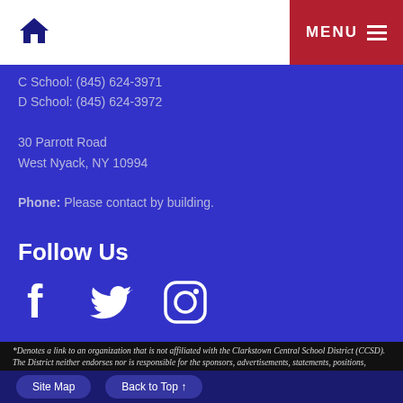Home | MENU
C School: (845) 624-3971
D School: (845) 624-3972

30 Parrott Road
West Nyack, NY 10994

Phone: Please contact by building.
Follow Us
[Figure (infographic): Social media icons: Facebook, Twitter, Instagram]
Site Map | Back to Top
*Denotes a link to an organization that is not affiliated with the Clarkstown Central School District (CCSD). The District neither endorses nor is responsible for the sponsors, advertisements, statements, positions,